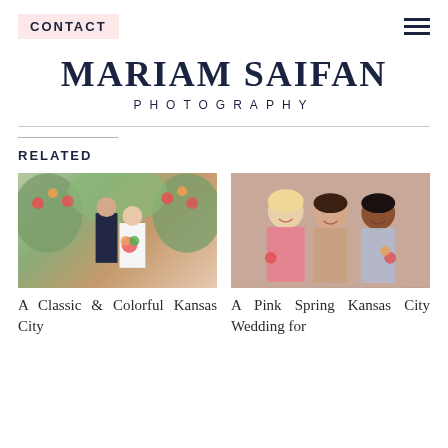CONTACT
MARIAM SAIFAN PHOTOGRAPHY
RELATED
[Figure (photo): Wedding couple standing in front of a floral arch with colorful flowers; bride holds bouquet]
A Classic & Colorful Kansas City
[Figure (photo): Three bridesmaids smiling together, wearing pink and light blue dresses, holding flowers]
A Pink Spring Kansas City Wedding for